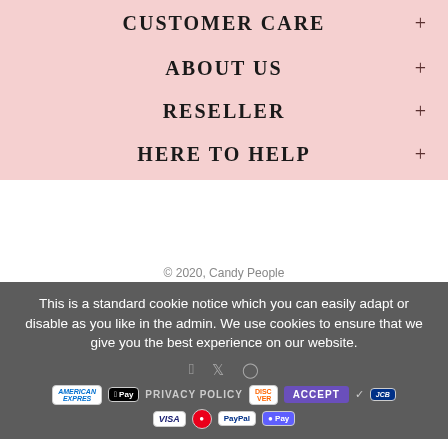CUSTOMER CARE
ABOUT US
RESELLER
HERE TO HELP
© 2020, Candy People
This is a standard cookie notice which you can easily adapt or disable as you like in the admin. We use cookies to ensure that we give you the best experience on our website.
[Figure (other): Payment method icons: American Express, Apple Pay, Discover, Google Pay, JCB, Visa, Mastercard, PayPal, Apple Pay (O Pay)]